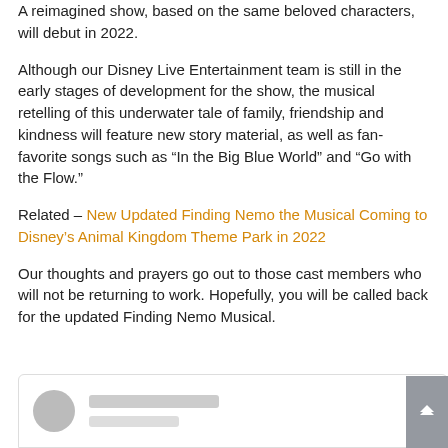A reimagined show, based on the same beloved characters, will debut in 2022.
Although our Disney Live Entertainment team is still in the early stages of development for the show, the musical retelling of this underwater tale of family, friendship and kindness will feature new story material, as well as fan-favorite songs such as “In the Big Blue World” and “Go with the Flow.”
Related – New Updated Finding Nemo the Musical Coming to Disney’s Animal Kingdom Theme Park in 2022
Our thoughts and prayers go out to those cast members who will not be returning to work. Hopefully, you will be called back for the updated Finding Nemo Musical.
[Figure (other): Partially visible social media or author card with gray avatar circle and placeholder gray lines for name/text, with a gray scroll-to-top button on the right]